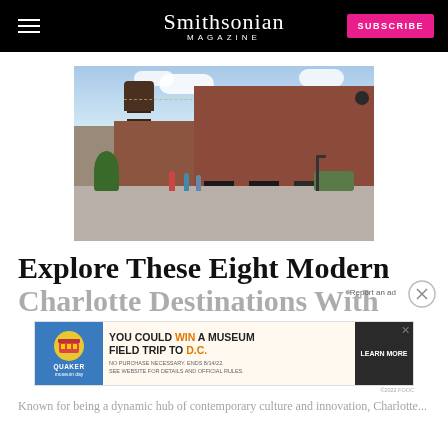Smithsonian MAGAZINE
[Figure (photo): Outdoor walkway of a converted industrial district with a historic water tower on the left, brick buildings with dark barn doors on the right, string lights overhead, trees and planters, and pedestrians walking.]
Explore These Eight Modern Charlotte Destinations With
[Figure (other): Advertisement banner: Quaker and Museum Day promotion — YOU COULD WIN A MUSEUM FIELD TRIP TO D.C. NO PURCHASE NECESSARY. ENDS 8/14/22. SEE WEBSITE FOR DETAILS AND OFFICIAL RULES. LEARN MORE]
Known for being a dynamic hub of contemporary culture and innovation, Charlotte...